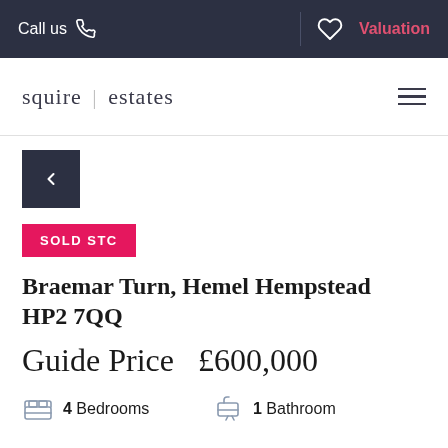Call us | Valuation
[Figure (logo): Squire Estates logo with hamburger menu icon]
[Figure (other): Back navigation button (dark square with left chevron)]
SOLD STC
Braemar Turn, Hemel Hempstead HP2 7QQ
Guide Price  £600,000
4 Bedrooms   1 Bathroom